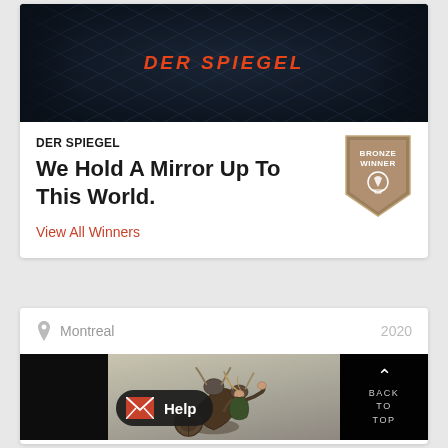[Figure (screenshot): Screenshot of a webpage showing Der Spiegel advertisement with dark fabric background and orange 'DER SPIEGEL' text, with a Bronze Winner badge]
DER SPIEGEL
We Hold A Mirror Up To This World.
View All Winners
Montreal
2020
[Figure (photo): Viking warriors fighting scene with dramatic action pose, two figures in battle with horned helmets, fur, and shields]
BACK TO TOP
Help